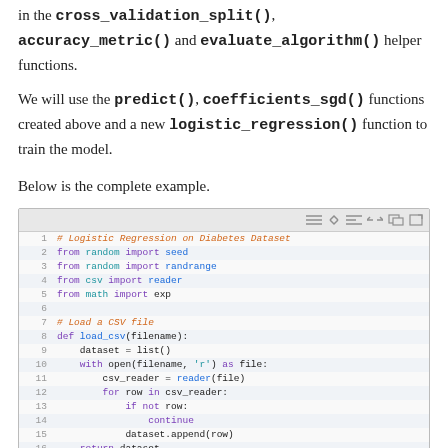in the cross_validation_split(), accuracy_metric() and evaluate_algorithm() helper functions.
We will use the predict(), coefficients_sgd() functions created above and a new logistic_regression() function to train the model.
Below is the complete example.
[Figure (screenshot): Code editor screenshot showing Python code for Logistic Regression on Diabetes Dataset. Lines 1-17 displayed with syntax highlighting. Line 1: comment '# Logistic Regression on Diabetes Dataset', Lines 2-5: imports (from random import seed, from random import randrange, from csv import reader, from math import exp), Line 6: blank, Line 7: comment '# Load a CSV file', Lines 8-16: def load_csv(filename) function definition with dataset = list(), with open(filename, 'r') as file:, csv_reader = reader(file), for row in csv_reader:, if not row:, continue, dataset.append(row), return dataset, Line 17: blank.]